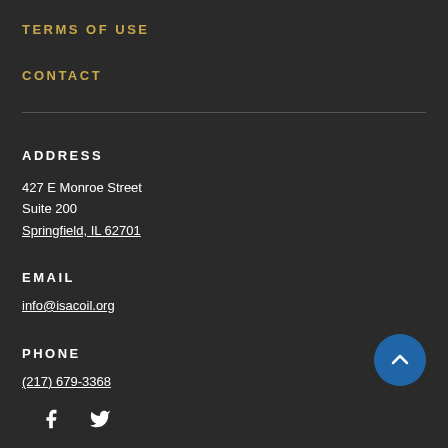TERMS OF USE
CONTACT
ADDRESS
427 E Monroe Street
Suite 200
Springfield, IL 62701
EMAIL
info@isacoil.org
PHONE
(217) 679-3368
[Figure (illustration): Blue circular scroll-to-top button with upward chevron arrow icon, and two social media icons (Facebook and Twitter) at the bottom left]